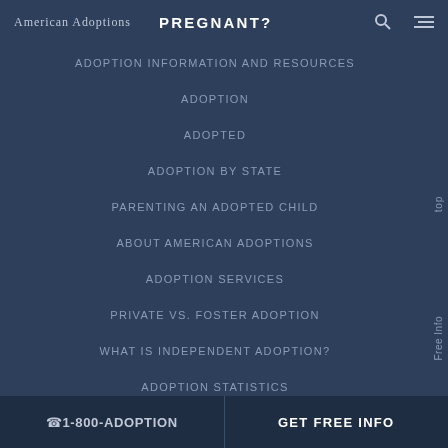American Adoptions  PREGNANT?
ADOPTION INFORMATION AND RESOURCES
ADOPTION
ADOPTED
ADOPTION BY STATE
PARENTING AN ADOPTED CHILD
ABOUT AMERICAN ADOPTIONS
ADOPTION SERVICES
PRIVATE VS. FOSTER ADOPTION
WHAT IS INDEPENDENT ADOPTION?
ADOPTION STATISTICS
FAMOUS ADOPTIONS
GLOSSARY
SOCIAL MEDIA AND ADOPTION
☎ 1-800-ADOPTION    GET FREE INFO